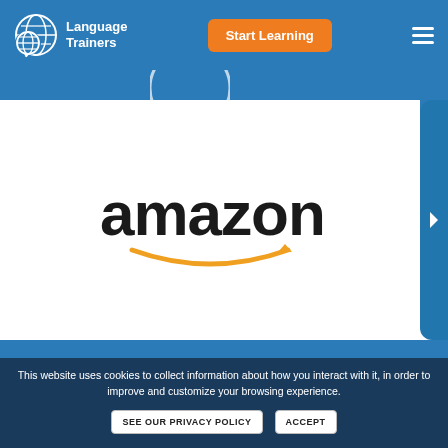Language Trainers — Start Learning (navigation header)
[Figure (logo): Amazon logo with orange smile arrow beneath the text 'amazon']
This website uses cookies to collect information about how you interact with it, in order to improve and customize your browsing experience.
SEE OUR PRIVACY POLICY   ACCEPT